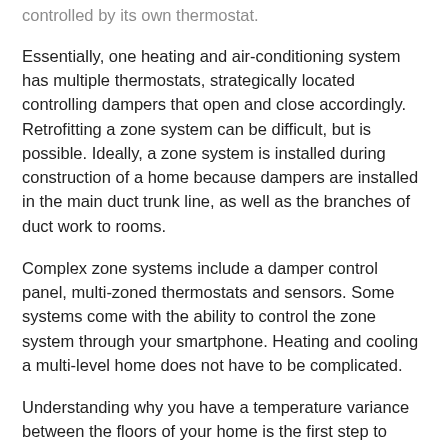controlled by its own thermostat.
Essentially, one heating and air-conditioning system has multiple thermostats, strategically located controlling dampers that open and close accordingly. Retrofitting a zone system can be difficult, but is possible. Ideally, a zone system is installed during construction of a home because dampers are installed in the main duct trunk line, as well as the branches of duct work to rooms.
Complex zone systems include a damper control panel, multi-zoned thermostats and sensors. Some systems come with the ability to control the zone system through your smartphone. Heating and cooling a multi-level home does not have to be complicated.
Understanding why you have a temperature variance between the floors of your home is the first step to resolving your comfort issues.
Make sure to contact a certified heating and air contractor